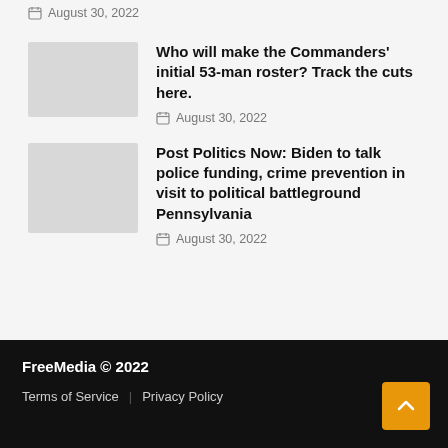August 30, 2022
[Figure (photo): Thumbnail image placeholder (gray rectangle)]
Who will make the Commanders' initial 53-man roster? Track the cuts here.
August 30, 2022
[Figure (photo): Thumbnail image placeholder (gray rectangle)]
Post Politics Now: Biden to talk police funding, crime prevention in visit to political battleground Pennsylvania
August 30, 2022
FreeMedia © 2022 | Terms of Service | Privacy Policy